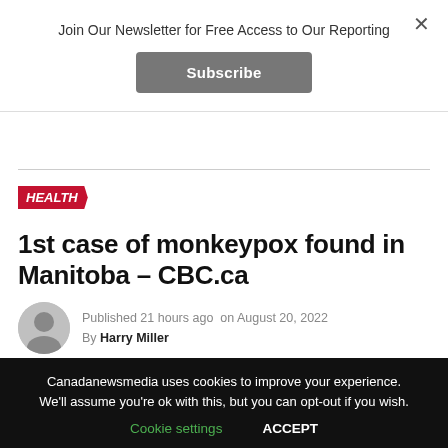Join Our Newsletter for Free Access to Our Reporting
Subscribe
HEALTH
1st case of monkeypox found in Manitoba – CBC.ca
Published 21 hours ago on August 20, 2022
By Harry Miller
[Figure (photo): Green outdoor scene strip]
Canadanewsmedia uses cookies to improve your experience. We'll assume you're ok with this, but you can opt-out if you wish.
Cookie settings   ACCEPT